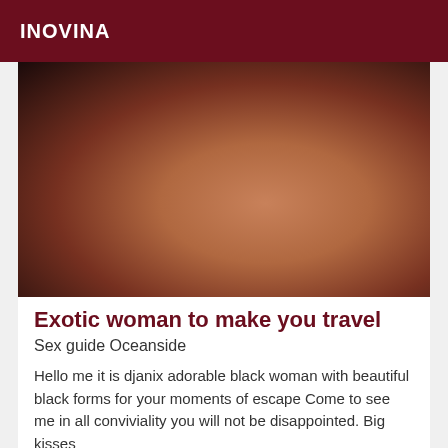INOVINA
[Figure (photo): Close-up photo of a person wearing fishnet stockings and dark leather clothing]
Exotic woman to make you travel
Sex guide Oceanside
Hello me it is djanix adorable black woman with beautiful black forms for your moments of escape Come to see me in all conviviality you will not be disappointed. Big kisses